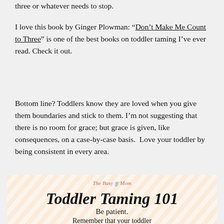three or whatever needs to stop.
I love this book by Ginger Plowman: “Don’t Make Me Count to Three” is one of the best books on toddler taming I’ve ever read. Check it out.
Bottom line? Toddlers know they are loved when you give them boundaries and stick to them. I’m not suggesting that there is no room for grace; but grace is given, like consequences, on a case-by-case basis.  Love your toddler by being consistent in every area.
[Figure (illustration): A decorative card with diagonal peach/cream stripes, The Busy Mom logo at top, large italic bold text 'Toddler Taming 101', subtitle 'Be patient.', and beginning of text 'Remember that your toddler']